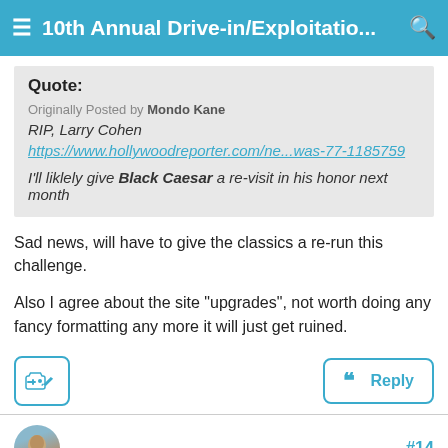≡ 10th Annual Drive-in/Exploitatio... 🔍
Quote:
Originally Posted by Mondo Kane
RIP, Larry Cohen
https://www.hollywoodreporter.com/ne...was-77-1185759

I'll liklely give Black Caesar a re-visit in his honor next month
Sad news, will have to give the classics a re-run this challenge.
Also I agree about the site "upgrades", not worth doing any fancy formatting any more it will just get ruined.